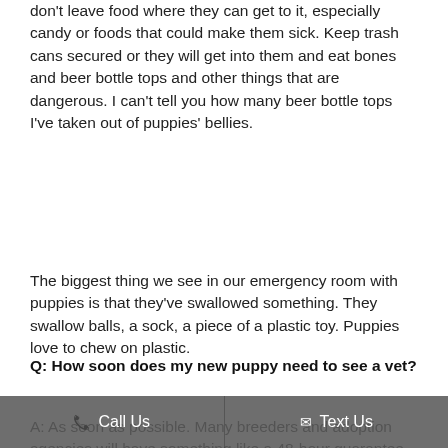don't leave food where they can get to it, especially candy or foods that could make them sick. Keep trash cans secured or they will get into them and eat bones and beer bottle tops and other things that are dangerous. I can't tell you how many beer bottle tops I've taken out of puppies' bellies.
The biggest thing we see in our emergency room with puppies is that they've swallowed something. They swallow balls, a sock, a piece of a plastic toy. Puppies love to chew on plastic.
Q: How soon does my new puppy need to see a vet?
A: As soon as possible. Many breeders and adoption agencies will have something like a 48-hour guarantee, so you want to get it done in that timeframe, should...